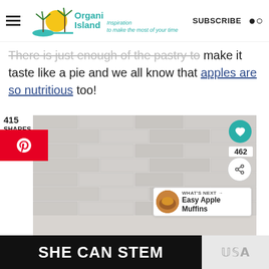Organized Island — Inspiration to make the most of your time | SUBSCRIBE
There is just enough of the pastry to make it taste like a pie and we all know that apples are so nutritious too!
415 SHARES
[Figure (photo): Photo of an apple against a white brick wall background, with social sharing buttons (heart/share), a 462 share count, and a What's Next panel showing Easy Apple Muffins]
WHAT'S NEXT → Easy Apple Muffins
[Figure (screenshot): Bottom advertisement banner reading SHE CAN STEM in white bold text on dark background]